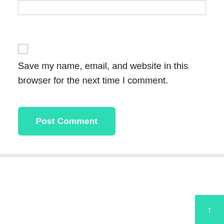Save my name, email, and website in this browser for the next time I comment.
Post Comment
BlogRoll
judi bola
slot gacor TOTO MACAU
สล็อต
สล็อต